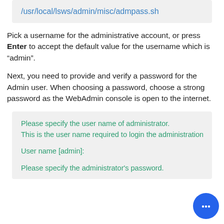/usr/local/lsws/admin/misc/admpass.sh
Pick a username for the administrative account, or press Enter to accept the default value for the username which is “admin”.
Next, you need to provide and verify a password for the Admin user. When choosing a password, choose a strong password as the WebAdmin console is open to the internet.
Please specify the user name of administrator.
This is the user name required to login the administration

User name [admin]:

Please specify the administrator's password.